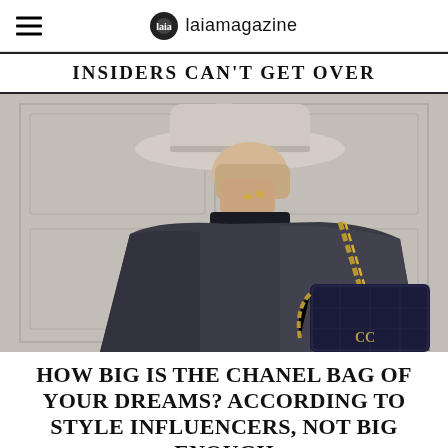laiamagazine
INSIDERS CAN'T GET OVER
[Figure (photo): Fashion photo of a person wearing a wide-brim beige hat and dark coat, carrying a large dark navy Chanel bag with gold chain strap, posed against a white paneled door background.]
HOW BIG IS THE CHANEL BAG OF YOUR DREAMS? ACCORDING TO STYLE INFLUENCERS, NOT BIG ENOUGH